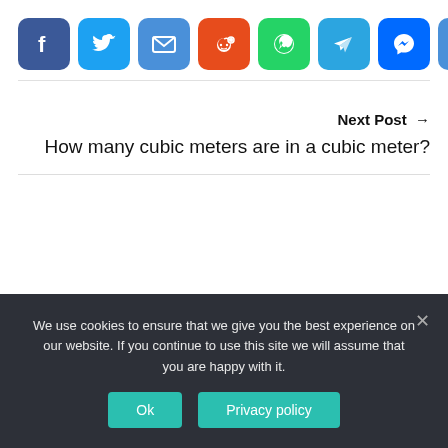[Figure (other): Social share icons row: Facebook (blue), Twitter (blue), Email (blue), Reddit (orange-red), WhatsApp (green), Telegram (light blue), Messenger (blue), Plus/share (blue)]
Next Post →
How many cubic meters are in a cubic meter?
We use cookies to ensure that we give you the best experience on our website. If you continue to use this site we will assume that you are happy with it.
Ok   Privacy policy